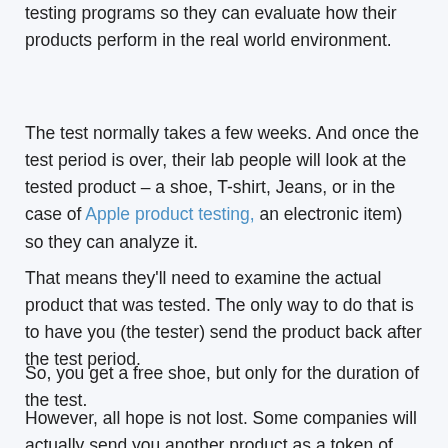testing programs so they can evaluate how their products perform in the real world environment.
The test normally takes a few weeks. And once the test period is over, their lab people will look at the tested product – a shoe, T-shirt, Jeans, or in the case of Apple product testing, an electronic item) so they can analyze it.
That means they'll need to examine the actual product that was tested. The only way to do that is to have you (the tester) send the product back after the test period.
So, you get a free shoe, but only for the duration of the test.
However, all hope is not lost. Some companies will actually send you another product as a token of their appreciation for free. Normally it's the same product but a brand new one. But in the case of New Balance, there is no compensation or free shoes